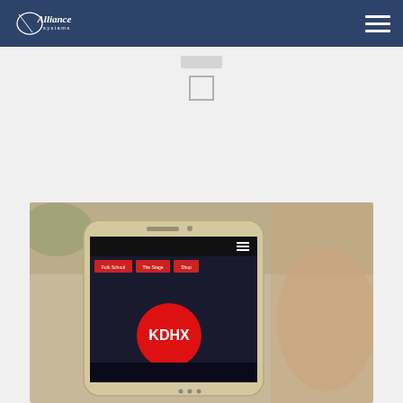Alliance Systems — navigation bar with logo and hamburger menu
[Figure (screenshot): Small UI element: a gray rounded bar and an outlined square, centered below the navbar, partial screenshot of a web page element]
More Projects
[Figure (photo): Samsung smartphone displaying a KDHX website with red navigation buttons labeled 'Folk School', 'The Stage', 'Shop' and a red circular KDHX logo, photographed on a blurred background]